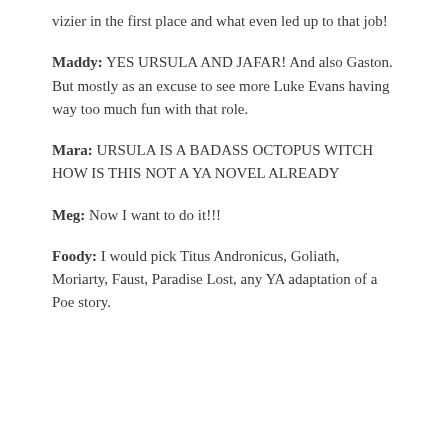vizier in the first place and what even led up to that job!
Maddy: YES URSULA AND JAFAR! And also Gaston. But mostly as an excuse to see more Luke Evans having way too much fun with that role.
Mara: URSULA IS A BADASS OCTOPUS WITCH HOW IS THIS NOT A YA NOVEL ALREADY
Meg: Now I want to do it!!!
Foody: I would pick Titus Andronicus, Goliath, Moriarty, Faust, Paradise Lost, any YA adaptation of a Poe story.